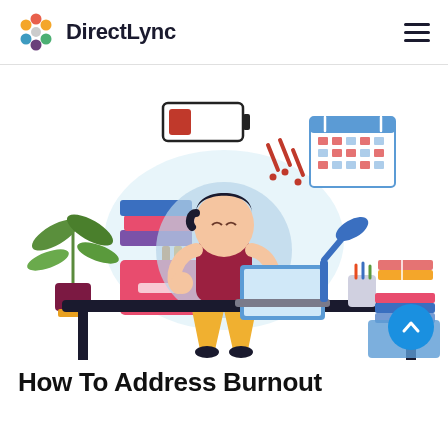DirectLync
[Figure (illustration): Illustration of a stressed person sitting at a desk with a laptop, head in hands. Surrounded by a low battery icon, exclamation marks, a calendar, a plant, stacked books and boxes, a desk lamp, pencil cup, and binders. The scene conveys workplace burnout and overwhelm.]
How To Address Burnout